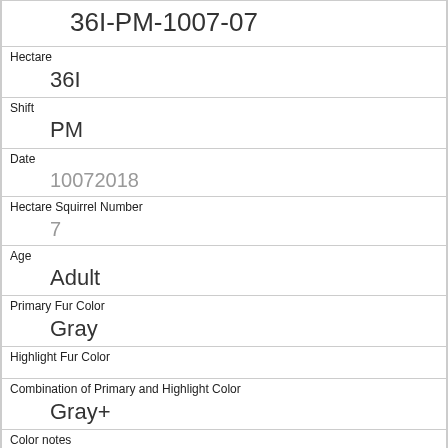36I-PM-1007-07
Hectare
36I
Shift
PM
Date
10072018
Hectare Squirrel Number
7
Age
Adult
Primary Fur Color
Gray
Highlight Fur Color
Combination of Primary and Highlight Color
Gray+
Color notes
Location
Ground Plane